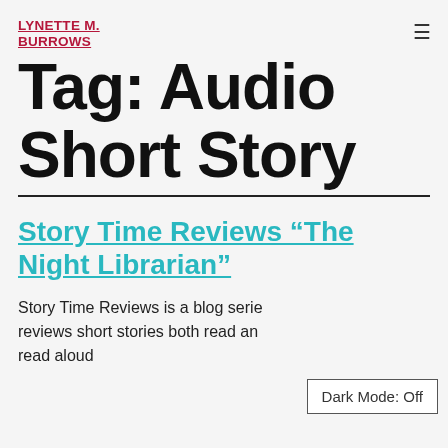LYNETTE M. BURROWS
Tag: Audio Short Story
Story Time Reviews “The Night Librarian”
Story Time Reviews is a blog serie... reviews short stories both read an... read aloud
Dark Mode: Off